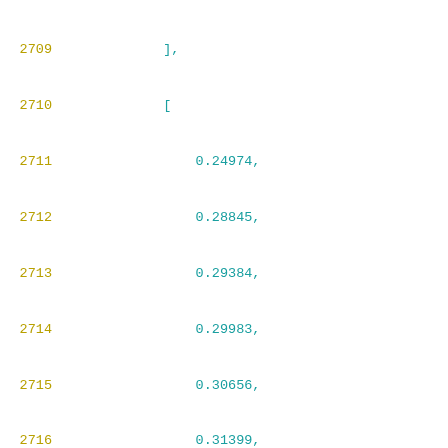2709    ],
2710    [
2711        0.24974,
2712        0.28845,
2713        0.29384,
2714        0.29983,
2715        0.30656,
2716        0.31399,
2717        0.32245,
2718        0.33199,
2719        0.34276,
2720        0.355,
2721        0.36896,
2722        0.38495,
2723        0.40339,
2724        0.42479,
2725        0.44973,
2726        0.47905,
2727        0.51355,
2728        0.55464,
2729        0.60338,
2730        0.66177,